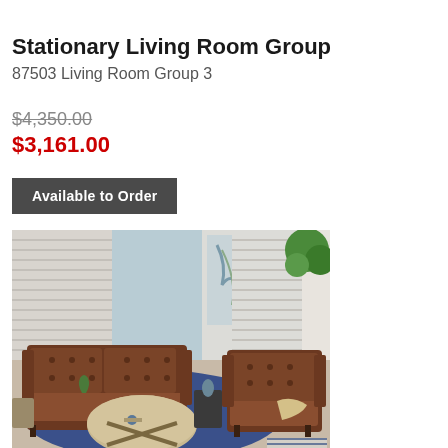Stationary Living Room Group
87503 Living Room Group 3
$4,350.00
$3,161.00
Available to Order
[Figure (photo): Brown leather sofa and armchair set with tufted backs on a blue area rug, with round coffee table and plantation shutter windows in background]